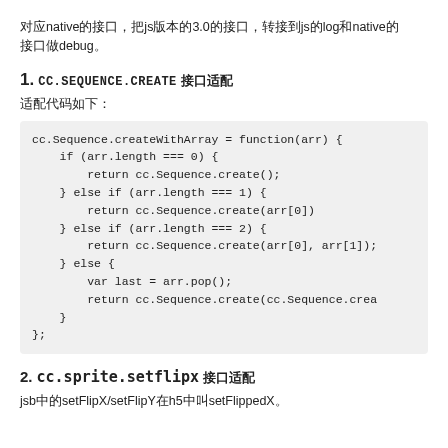対应native的接口，把js版本的3.0的接口，转接到js的log和native的接口做debug。
1. CC.SEQUENCE.CREATE接口适配
适配代码如下：
cc.Sequence.createWithArray = function(arr) {
    if (arr.length === 0) {
        return cc.Sequence.create();
    } else if (arr.length === 1) {
        return cc.Sequence.create(arr[0])
    } else if (arr.length === 2) {
        return cc.Sequence.create(arr[0], arr[1]);
    } else {
        var last = arr.pop();
        return cc.Sequence.create(cc.Sequence.crea
    }
};
2. CC.SPRITE.SETFLIPX接口适配
jsb中的setFlipX/setFlipY在h5中叫setFlippedX。